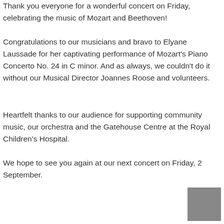Thank you everyone for a wonderful concert on Friday, celebrating the music of Mozart and Beethoven!
Congratulations to our musicians and bravo to Elyane Laussade for her captivating performance of Mozart's Piano Concerto No. 24 in C minor. And as always, we couldn't do it without our Musical Director Joannes Roose and volunteers.
Heartfelt thanks to our audience for supporting community music, our orchestra and the Gatehouse Centre at the Royal Children's Hospital.
We hope to see you again at our next concert on Friday, 2 September.
[Figure (other): A small gray square graphic in the bottom-right corner of the page.]